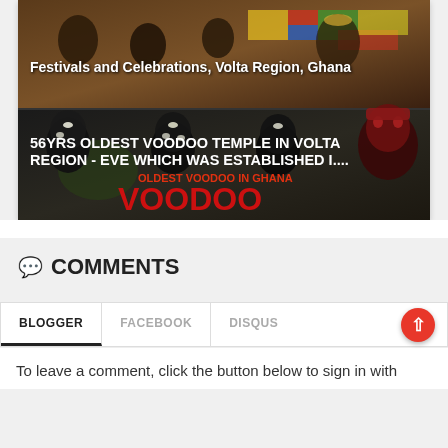[Figure (photo): Collage of two images: top image shows people in colorful traditional Ghanaian attire at a festival with white text overlay 'Festivals and Celebrations, Volta Region, Ghana'; bottom section shows four figures with black body paint, masks and ritual decoration, with white text overlay '56YRS OLDEST VOODOO TEMPLE IN VOLTA REGION - EVE WHICH WAS ESTABLISHED I....' and red text 'OLDEST VOODOO IN GHANA' and large red text 'VOODOO']
💬 COMMENTS
BLOGGER | FACEBOOK | DISQUS (tab bar)
To leave a comment, click the button below to sign in with